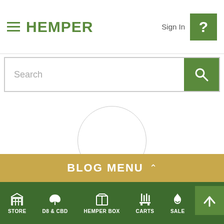HEMPER
Sign In
Search
Angel Ferrer
BLOG MENU
STORE  D8 & CBD  HEMPER BOX  CARTS  SALE  CART